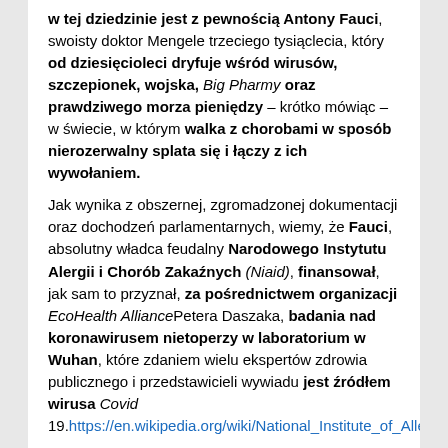w tej dziedzinie jest z pewnością Antony Fauci, swoisty doktor Mengele trzeciego tysiąclecia, który od dziesięcioleci dryfuje wśród wirusów, szczepionek, wojska, Big Pharmy oraz prawdziwego morza pieniędzy – krótko mówiąc – w świecie, w którym walka z chorobami w sposób nierozerwalny splata się i łączy z ich wywołaniem.
Jak wynika z obszernej, zgromadzonej dokumentacji oraz dochodzeń parlamentarnych, wiemy, że Fauci, absolutny władca feudalny Narodowego Instytutu Alergii i Chorób Zakaźnych (Niaid), finansował, jak sam to przyznał, za pośrednictwem organizacji EcoHealth AlliancePetera Daszaka, badania nad koronawirusem nietoperzy w laboratorium w Wuhan, które zdaniem wielu ekspertów zdrowia publicznego i przedstawicieli wywiadu jest źródłem wirusa Covid 19. https://en.wikipedia.org/wiki/National_Institute_of_Allergy_and_Infectious_Diseases
Ale co za przypadek, Niaid finansował również